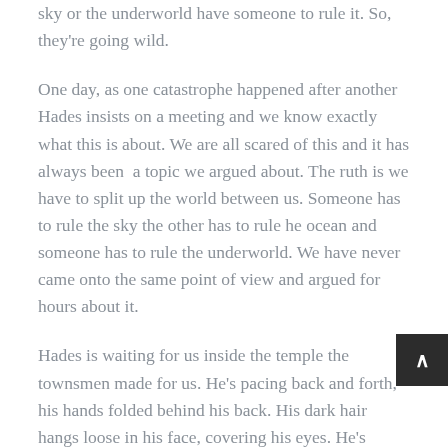sky or the underworld have someone to rule it. So, they're going wild.
One day, as one catastrophe happened after another Hades insists on a meeting and we know exactly what this is about. We are all scared of this and it has always been  a topic we argued about. The ruth is we have to split up the world between us. Someone has to rule the sky the other has to rule he ocean and someone has to rule the underworld. We have never came onto the same point of view and argued for hours about it.
Hades is waiting for us inside the temple the townsmen made for us. He's pacing back and forth, his hands folded behind his back. His dark hair hangs loose in his face, covering his eyes. He's surrounded by lots of pillars and inside the building is a statue of mine. He comes to a halt in front of my icon as he hears us approaching.